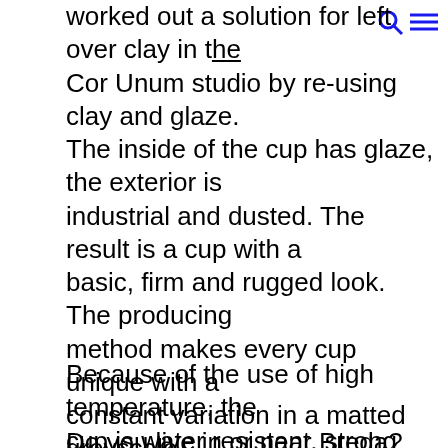worked out a solution for left over clay in the Cor Unum studio by re-using clay and glaze. The inside of the cup has glaze, the exterior is industrial and dusted. The result is a cup with a basic, firm and rugged look. The producing method makes every cup unique with a constant variation in a matted greyscale pallet. The perfection of imperfection as Lotte Landsheer puts it. And this fits how we like to view the world and it's people.
Because of the use of high temperature, the cup is water resistant, strong and microwave and dishwasher safe.
Do you live in or near Breda? Then choose